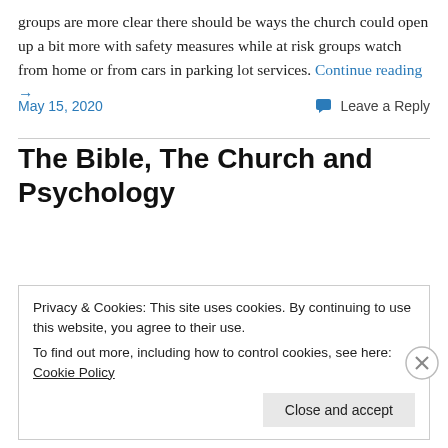groups are more clear there should be ways the church could open up a bit more with safety measures while at risk groups watch from home or from cars in parking lot services. Continue reading →
May 15, 2020
Leave a Reply
The Bible, The Church and Psychology
Privacy & Cookies: This site uses cookies. By continuing to use this website, you agree to their use.
To find out more, including how to control cookies, see here: Cookie Policy
Close and accept